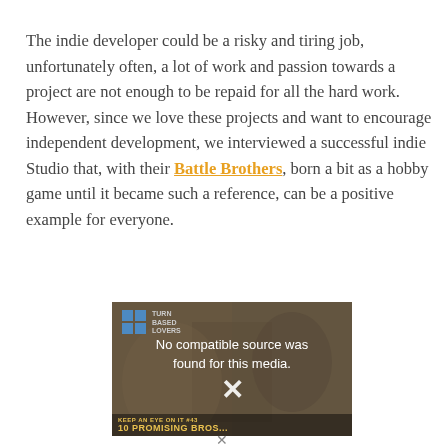The indie developer could be a risky and tiring job, unfortunately often, a lot of work and passion towards a project are not enough to be repaid for all the hard work. However, since we love these projects and want to encourage independent development, we interviewed a successful indie Studio that, with their Battle Brothers, born a bit as a hobby game until it became such a reference, can be a positive example for everyone.
[Figure (screenshot): Video player placeholder showing 'No compatible source was found for this media.' with an X close button. A logo appears in the top-left (Turn Based Lovers). The bottom shows overlay text 'KEEP AN EYE ON IT #43' and '10 PROMISING...' in gold/yellow on a dark background with game imagery behind.]